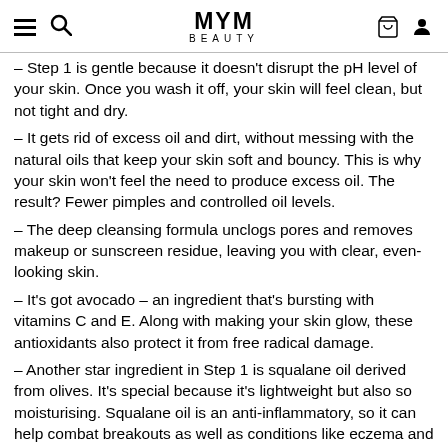MYM BEAUTY
– Step 1 is gentle because it doesn't disrupt the pH level of your skin. Once you wash it off, your skin will feel clean, but not tight and dry.
– It gets rid of excess oil and dirt, without messing with the natural oils that keep your skin soft and bouncy. This is why your skin won't feel the need to produce excess oil. The result? Fewer pimples and controlled oil levels.
– The deep cleansing formula unclogs pores and removes makeup or sunscreen residue, leaving you with clear, even-looking skin.
– It's got avocado – an ingredient that's bursting with vitamins C and E. Along with making your skin glow, these antioxidants also protect it from free radical damage.
– Another star ingredient in Step 1 is squalane oil derived from olives. It's special because it's lightweight but also so moisturising. Squalane oil is an anti-inflammatory, so it can help combat breakouts as well as conditions like eczema and rosacea.